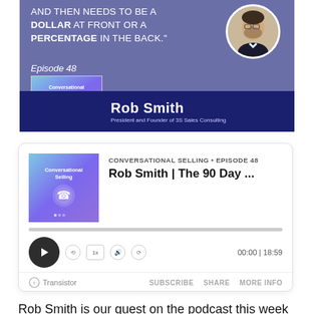[Figure (infographic): Podcast episode banner for Episode 48 of Conversational Selling featuring Rob Smith, President and Founder of 3S Sales Consulting. Purple/blue background with white text quote about dollar at front or a percentage in the back. Circular portrait photo of Rob Smith. Bottom navy bar with his name and title.]
[Figure (screenshot): Podcast player card widget showing Conversational Selling Episode 48, Rob Smith | The 90 Day ..., with play button, progress bar, time 00:00|18:59, Transistor branding, Subscribe, Share, More Info buttons.]
Rob Smith is our guest on the podcast this week and he is here to help you discover your